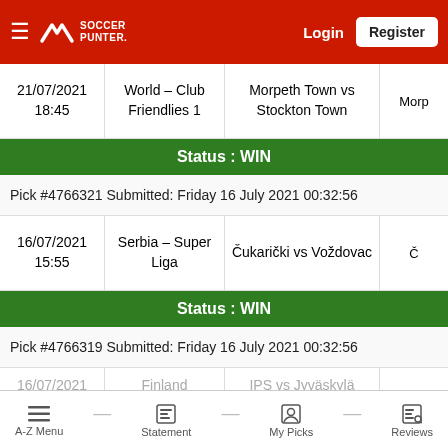Soccer Punter — Login | Register
| Date/Time | League | Match | Extra |
| --- | --- | --- | --- |
| 21/07/2021 18:45 | World – Club Friendlies 1 | Morpeth Town vs Stockton Town | Morp |
| Status : WIN |  |  |  |
| Pick #4766321 Submitted: Friday 16 July 2021 00:32:56 |  |  |  |
| 16/07/2021 15:55 | Serbia – Super Liga | Čukarički vs Voždovac | Č |
| Status : WIN |  |  |  |
| Pick #4766319 Submitted: Friday 16 July 2021 00:32:56 |  |  |  |
| 16/07/2021 | Finland | IPS vs Jyväskylä |  |
A-Z Menu — Statement — My Picks — Reviews